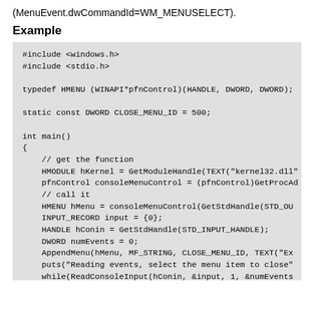(MenuEvent.dwCommandId=WM_MENUSELECT).
Example
[Figure (screenshot): C code block showing an example program that includes windows.h and stdio.h, defines a HMENU function pointer type, sets a CLOSE_MENU_ID constant, and implements main() using GetModuleHandle, GetProcAddress, consoleMenuControl, INPUT_RECORD, AppendMenu, puts, ReadConsoleInput, and checks input.EventType == MENU_EVENT.]